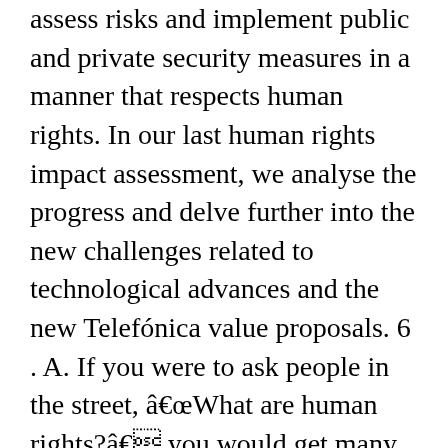assess risks and implement public and private security measures in a manner that respects human rights. In our last human rights impact assessment, we analyse the progress and delve further into the new challenges related to technological advances and the new Telefónica value proposals. 6 . A. If you were to ask people in the street, “What are human rights?” you would get many different answers. human rights as principles developed in political practice itself, not as a doctrine based on a philosophical theory. Human rights and nursing – RCN position statement 3 The RCN deplores the targeting of health professionals and their families, and subjecting them to imprisonment, torture,